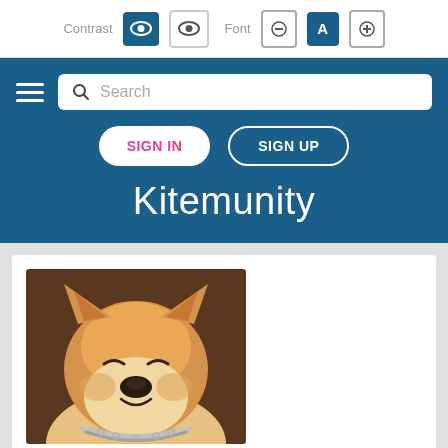Contrast | Font
[Figure (screenshot): Website navigation header with search bar, SIGN IN and SIGN UP buttons, and site title 'Kitemunity' on blue background]
Kitemunity
[Figure (photo): Photo of a smiling Shiba Inu dog with golden/cream fur, wearing a chain collar, sitting against a dark brown background]